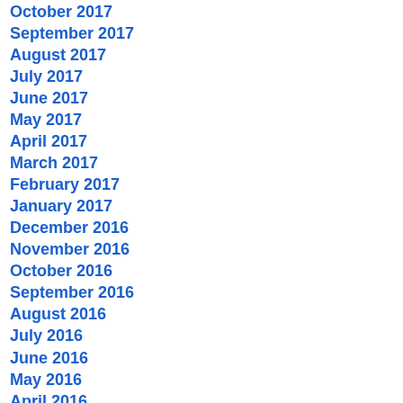October 2017
September 2017
August 2017
July 2017
June 2017
May 2017
April 2017
March 2017
February 2017
January 2017
December 2016
November 2016
October 2016
September 2016
August 2016
July 2016
June 2016
May 2016
April 2016
March 2016